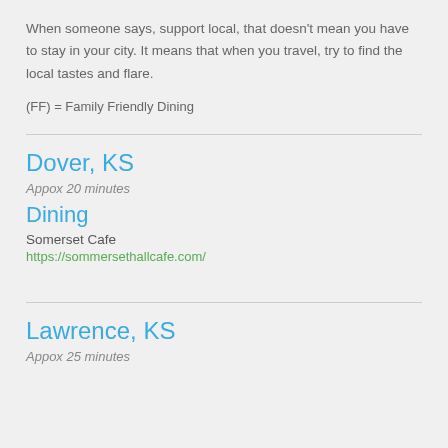When someone says, support local, that doesn't mean you have to stay in your city. It means that when you travel, try to find the local tastes and flare.
(FF) = Family Friendly Dining
Dover, KS
Appox 20 minutes
Dining
Somerset Cafe
https://sommersethallcafe.com/
Lawrence, KS
Appox 25 minutes